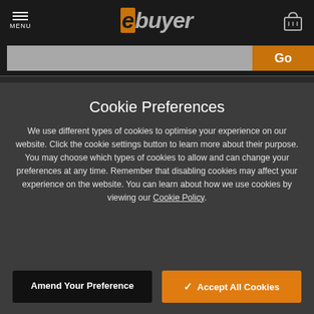MENU | ebuyer
Go
0% interest for 4 months with Paypal Credit
< Switches - Smart
Cookie Preferences
We use different types of cookies to optimise your experience on our website. Click the cookie settings button to learn more about their purpose. You may choose which types of cookies to allow and can change your preferences at any time. Remember that disabling cookies may affect your experience on the website. You can learn about how we use cookies by viewing our Cookie Policy.
Amend Your Preference
Accept All Cookies